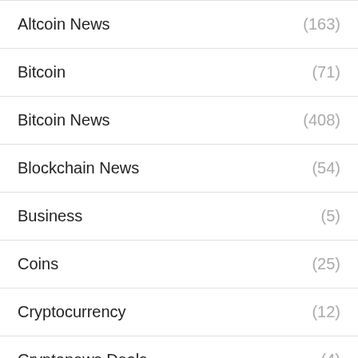Altcoin News (163)
Bitcoin (71)
Bitcoin News (408)
Blockchain News (54)
Business (5)
Coins (25)
Cryptocurrency (12)
Cryptonews Deals (4)